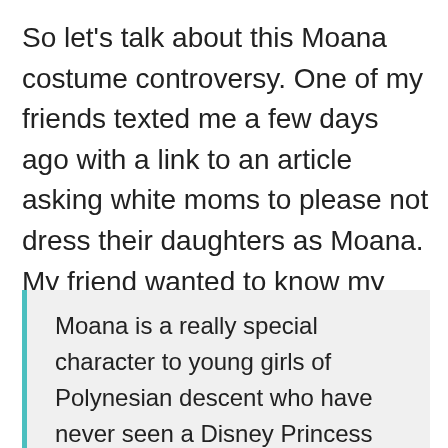So let's talk about this Moana costume controversy. One of my friends texted me a few days ago with a link to an article asking white moms to please not dress their daughters as Moana. My friend wanted to know my thoughts. As I read the article I was completely baffled by the author's reasoning especially this gem:
Moana is a really special character to young girls of Polynesian descent who have never seen a Disney Princess who looks like them, just like how Tiana from The Princess and the Frog likely